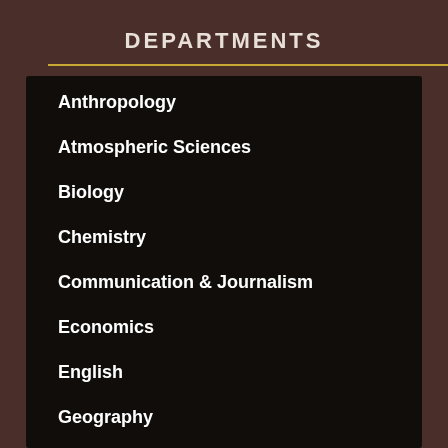DEPARTMENTS
Anthropology
Atmospheric Sciences
Biology
Chemistry
Communication & Journalism
Economics
English
Geography